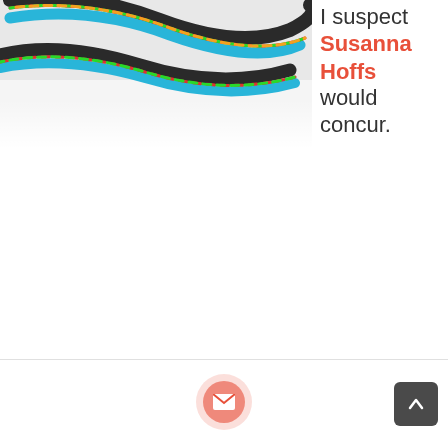[Figure (photo): Close-up photo of colorful braided/coiled rope or cables in blue, green, red/orange colors against a light background]
I suspect Susanna Hoffs would concur.
[Figure (infographic): Footer bar with email/mail button (orange circle with envelope icon) centered, and an up-arrow button on the right]